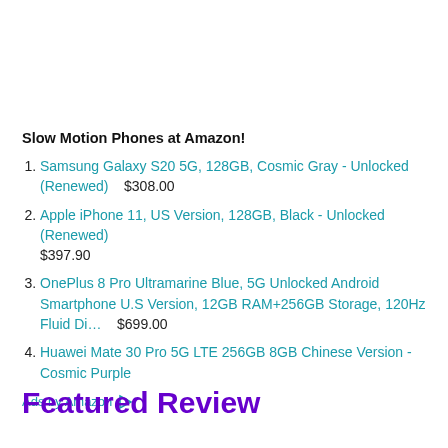Slow Motion Phones at Amazon!
Samsung Galaxy S20 5G, 128GB, Cosmic Gray - Unlocked (Renewed)    $308.00
Apple iPhone 11, US Version, 128GB, Black - Unlocked (Renewed)    $397.90
OnePlus 8 Pro Ultramarine Blue, 5G Unlocked Android Smartphone U.S Version, 12GB RAM+256GB Storage, 120Hz Fluid Di…    $699.00
Huawei Mate 30 Pro 5G LTE 256GB 8GB Chinese Version - Cosmic Purple
Ads by Amazon ▷
Featured Review